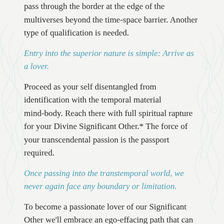pass through the border at the edge of the multiverses beyond the time-space barrier. Another type of qualification is needed.
Entry into the superior nature is simple: Arrive as a lover.
Proceed as your self disentangled from identification with the temporal material mind-body. Reach there with full spiritual rapture for your Divine Significant Other.* The force of your transcendental passion is the passport required.
Once passing into the transtemporal world, we never again face any boundary or limitation.
To become a passionate lover of our Significant Other we'll embrace an ego-effacing path that can liberate the self from the grip of the mind-body. Our practice will illuminate the existential nature of our…